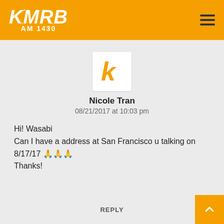KMRB AM 1430
[Figure (logo): KMRB radio station logo with stylized K letter icon in orange]
Nicole Tran
08/21/2017 at 10:03 pm
Hi! Wasabi
Can I have a address at San Francisco u talking on 8/17/17 🙏🙏🙏
Thanks!
REPLY